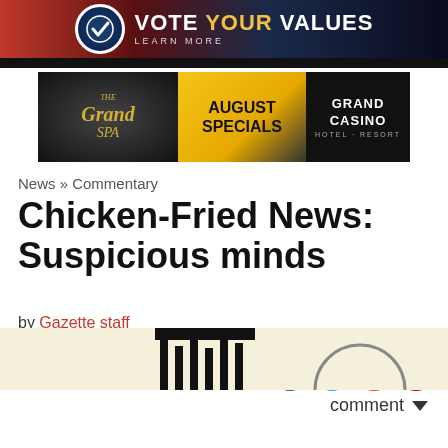Oklahoma Gazette
[Figure (illustration): Grand Spa August Specials Grand Casino Hotel Resort advertisement banner]
News » Commentary
Chicken-Fried News: Suspicious minds
by Gazette staff
December 22, 2016
[Figure (illustration): Social media sharing icons: Facebook, Twitter, Reddit, Pinterest and comment dropdown]
[Figure (illustration): Partial article image visible at bottom of page]
[Figure (illustration): Vote Your Values Learn More advertisement banner at bottom]